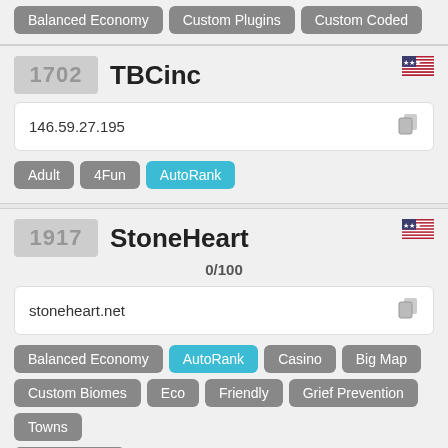Balanced Economy, Custom Plugins, Custom Coded (top partial tags)
1702 TBCinc
146.59.27.195
Adult, 4Fun, AutoRank
1917 StoneHeart
0/100
stoneheart.net
Balanced Economy, AutoRank, Casino, Big Map, Custom Biomes, Eco, Friendly, Grief Prevention, Towns, Player Shops